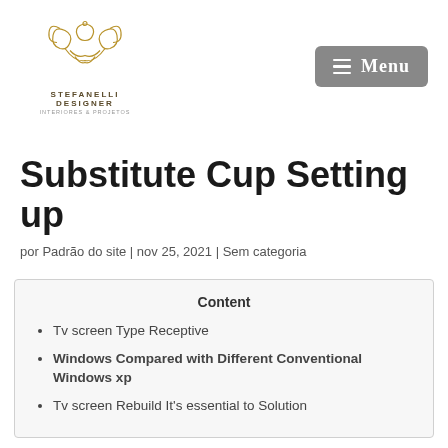[Figure (logo): Stefanelli Designer logo with ornamental design above text STEFANELLI DESIGNER and subtitle INTERIORES & PROJETOS]
[Figure (other): Gray rounded menu button with three horizontal lines and text MENU]
Substitute Cup Setting up
por Padrão do site | nov 25, 2021 | Sem categoria
Content
Tv screen Type Receptive
Windows Compared with Different Conventional Windows xp
Tv screen Rebuild It's essential to Solution